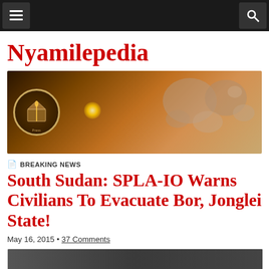Nyamilepedia — navigation bar with menu and search icons
Nyamilepedia
[Figure (photo): Nyamilepedia Press banner image with logo circle and world map silhouette on warm brown background]
BREAKING NEWS
South Sudan: SPLA-IO Warns Civilians To Evacuate Bor, Jonglei State!
May 16, 2015 • 37 Comments
[Figure (photo): Partial article image visible at bottom of page]